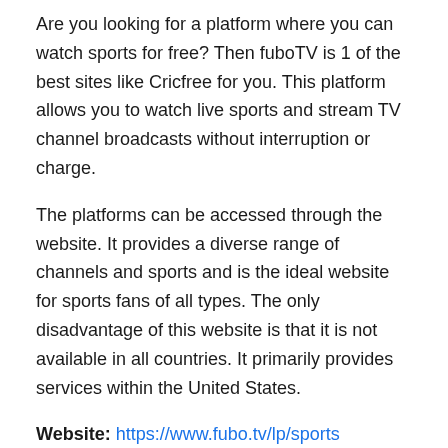Are you looking for a platform where you can watch sports for free? Then fuboTV is 1 of the best sites like Cricfree for you. This platform allows you to watch live sports and stream TV channel broadcasts without interruption or charge.
The platforms can be accessed through the website. It provides a diverse range of channels and sports and is the ideal website for sports fans of all types. The only disadvantage of this website is that it is not available in all countries. It primarily provides services within the United States.
Website: https://www.fubo.tv/lp/sports
6. Sky Sports